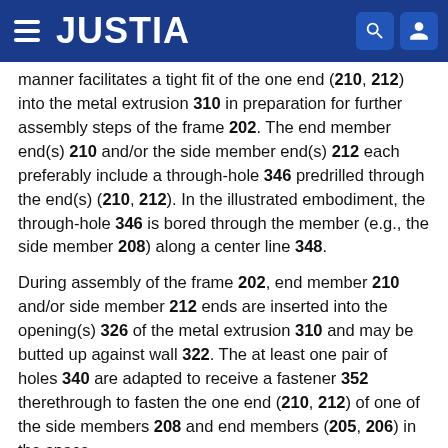JUSTIA
manner facilitates a tight fit of the one end (210, 212) into the metal extrusion 310 in preparation for further assembly steps of the frame 202. The end member end(s) 210 and/or the side member end(s) 212 each preferably include a through-hole 346 predrilled through the end(s) (210, 212). In the illustrated embodiment, the through-hole 346 is bored through the member (e.g., the side member 208) along a center line 348.
During assembly of the frame 202, end member 210 and/or side member 212 ends are inserted into the opening(s) 326 of the metal extrusion 310 and may be butted up against wall 322. The at least one pair of holes 340 are adapted to receive a fastener 352 therethrough to fasten the one end (210, 212) of one of the side members 208 and end members (205, 206) in the space